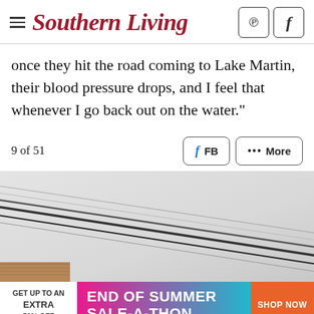Southern Living
once they hit the road coming to Lake Martin, their blood pressure drops, and I feel that whenever I go back out on the water.”
9 of 51
[Figure (photo): Close-up of diagonal boat hull lines/ropes against a light sky background, with a wooden deck edge visible at bottom left]
[Figure (infographic): Advertisement banner: GET UP TO AN EXTRA 50% OFF | END OF SUMMER SALE-A-THON | SHOP NOW]